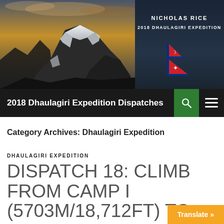[Figure (photo): Website header banner with a dramatic mountain (Dhaulagiri) photo on the left side and dark blue background with site name on the right. Includes site title 'NICHOLAS RICE', subtitle '2018 DHAULAGIRI EXPEDITION', and Nepal flag SVG icon.]
2018 Dhaulagiri Expedition Dispatches
Category Archives: Dhaulagiri Expedition
DHAULAGIRI EXPEDITION
DISPATCH 18: CLIMB FROM CAMP I (5703M/18,712FT) TO CAMP II (6465M/21,210FT); INJURY